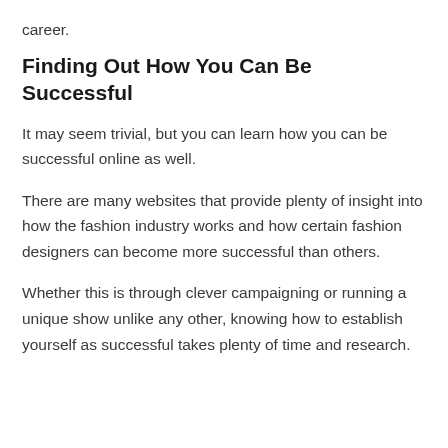career.
Finding Out How You Can Be Successful
It may seem trivial, but you can learn how you can be successful online as well.
There are many websites that provide plenty of insight into how the fashion industry works and how certain fashion designers can become more successful than others.
Whether this is through clever campaigning or running a unique show unlike any other, knowing how to establish yourself as successful takes plenty of time and research.